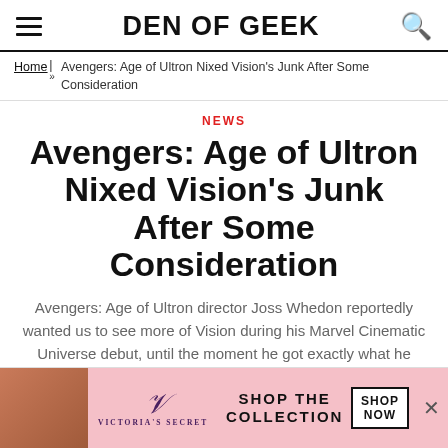DEN OF GEEK
Home » Avengers: Age of Ultron Nixed Vision's Junk After Some Consideration
NEWS
Avengers: Age of Ultron Nixed Vision's Junk After Some Consideration
Avengers: Age of Ultron director Joss Whedon reportedly wanted us to see more of Vision during his Marvel Cinematic Universe debut, until the moment he got exactly what he wanted.
By Kirsten Howard
[Figure (other): Victoria's Secret advertisement banner at the bottom of the page with model photo, VS logo, 'SHOP THE COLLECTION' text, and 'SHOP NOW' button]